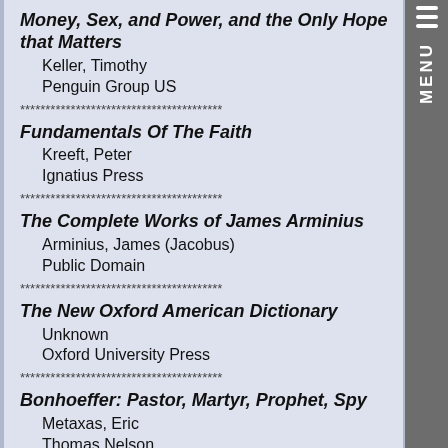Money, Sex, and Power, and the Only Hope that Matters
Keller, Timothy
Penguin Group US
Fundamentals Of The Faith
Kreeft, Peter
Ignatius Press
The Complete Works of James Arminius
Arminius, James (Jacobus)
Public Domain
The New Oxford American Dictionary
Unknown
Oxford University Press
Bonhoeffer: Pastor, Martyr, Prophet, Spy
Metaxas, Eric
Thomas Nelson
Finding God: Moving Through Your Problems Toward
Crabb, Larry
Zondervan